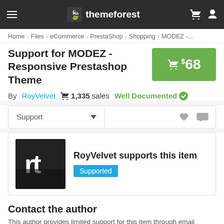themeforest
Home > Files > eCommerce > PrestaShop > Shopping > MODEZ -...
Support for MODEZ - Responsive Prestashop Theme
$68
By RoyVelvet   1,335 sales   Well Documented
Support
[Figure (illustration): RoyVelvet author avatar with 'rt' initials on dark background]
RoyVelvet supports this item Supported
Contact the author
This author provides limited support for this item through email contact form.
Item support includes: